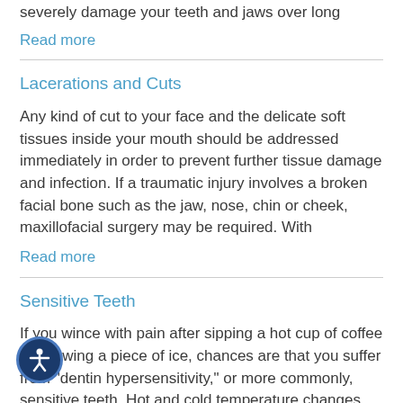severely damage your teeth and jaws over long
Read more
Lacerations and Cuts
Any kind of cut to your face and the delicate soft tissues inside your mouth should be addressed immediately in order to prevent further tissue damage and infection. If a traumatic injury involves a broken facial bone such as the jaw, nose, chin or cheek, maxillofacial surgery may be required. With
Read more
Sensitive Teeth
If you wince with pain after sipping a hot cup of coffee or chewing a piece of ice, chances are that you suffer from "dentin hypersensitivity," or more commonly, sensitive teeth. Hot and cold temperature changes cause your teeth to expand